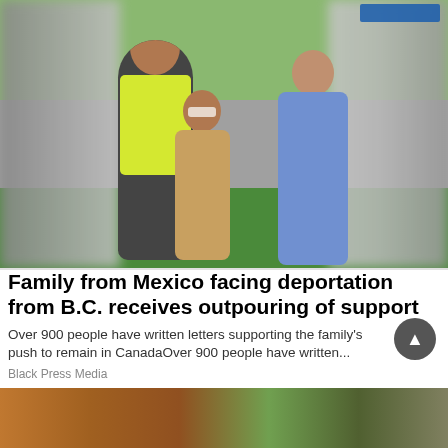[Figure (photo): A family of three posing outdoors on grass with trees in background. Man on left wearing a hard hat and high-visibility vest, young girl in center wearing novelty glasses and holding a purse, woman on right wearing blue scrubs.]
Family from Mexico facing deportation from B.C. receives outpouring of support
Over 900 people have written letters supporting the family's push to remain in CanadaOver 900 people have written...
Black Press Media